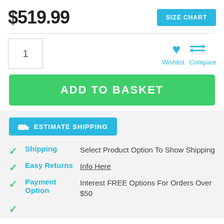$519.99
SIZE CHART
1
Wishlist   Compare
ADD TO BASKET
ESTIMATE SHIPPING
Shipping — Select Product Option To Show Shipping
Easy Returns — Info Here
Payment Option — Interest FREE Options For Orders Over $50